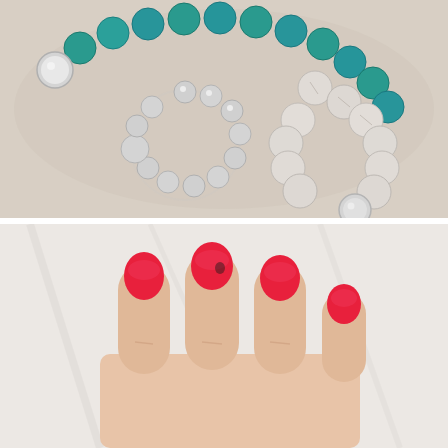[Figure (photo): Three beaded bracelets arranged on a light beige/cream surface. Top bracelet has teal/turquoise stone beads with one silver bead accent. Middle bracelet is made entirely of silver metallic beads in a circular ring shape. Right bracelet has white/gray marbled stone beads with one silver bead accent.]
[Figure (photo): Close-up photo of a woman's hand with four fingers visible, nails painted bright red/coral against a light marble or stone background.]